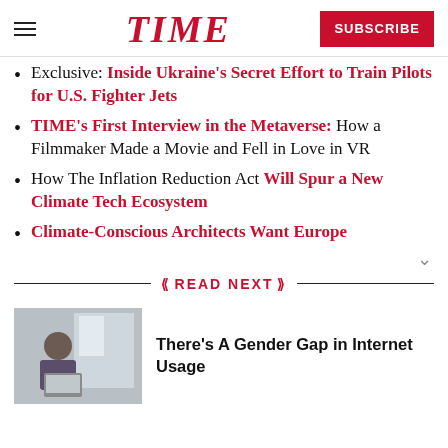TIME | SUBSCRIBE
Exclusive: Inside Ukraine's Secret Effort to Train Pilots for U.S. Fighter Jets
TIME's First Interview in the Metaverse: How a Filmmaker Made a Movie and Fell in Love in VR
How The Inflation Reduction Act Will Spur a New Climate Tech Ecosystem
Climate-Conscious Architects Want Europe
READ NEXT
There’s A Gender Gap in Internet Usage